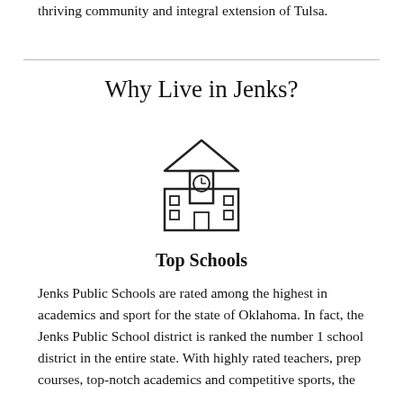thriving community and integral extension of Tulsa.
Why Live in Jenks?
[Figure (illustration): Line-art icon of a school building with a clock tower, windows, and a door]
Top Schools
Jenks Public Schools are rated among the highest in academics and sport for the state of Oklahoma. In fact, the Jenks Public School district is ranked the number 1 school district in the entire state. With highly rated teachers, prep courses, top-notch academics and competitive sports, the